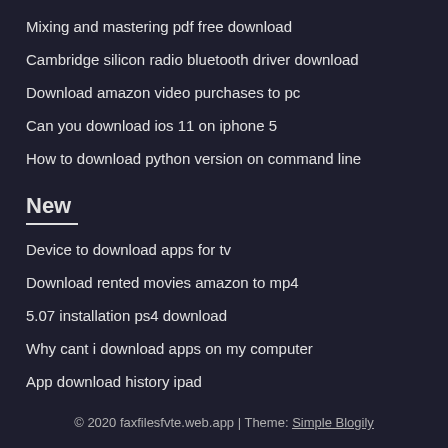Mixing and mastering pdf free download
Cambridge silicon radio bluetooth driver download
Download amazon video purchases to pc
Can you download ios 11 on iphone 5
How to download python version on command line
New
Device to download apps for tv
Download rented movies amazon to mp4
5.07 installation ps4 download
Why cant i download apps on my computer
App download history ipad
© 2020 faxfilesfvte.web.app | Theme: Simple Blogily